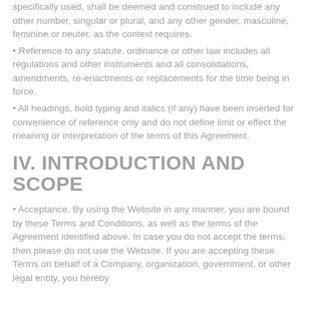specifically used, shall be deemed and construed to include any other number, singular or plural, and any other gender, masculine, feminine or neuter, as the context requires.
• Reference to any statute, ordinance or other law includes all regulations and other instruments and all consolidations, amendments, re-enactments or replacements for the time being in force.
• All headings, bold typing and italics (if any) have been inserted for convenience of reference only and do not define limit or effect the meaning or interpretation of the terms of this Agreement.
IV. INTRODUCTION AND SCOPE
• Acceptance. By using the Website in any manner, you are bound by these Terms and Conditions, as well as the terms of the Agreement identified above. In case you do not accept the terms, then please do not use the Website. If you are accepting these Terms on behalf of a Company, organization, government, or other legal entity, you hereby